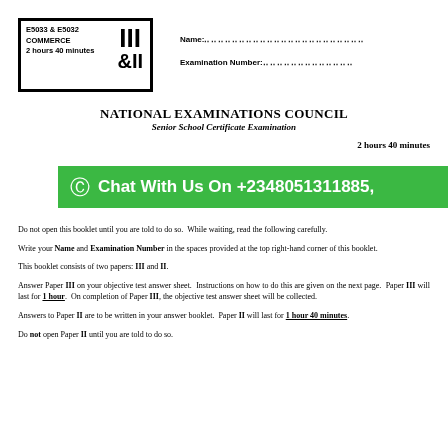E5033 & E5032 COMMERCE III &II 2 hours 40 minutes
Name:...............................................................
Examination Number:......................................
NATIONAL EXAMINATIONS COUNCIL
Senior School Certificate Examination
2 hours 40 minutes
[Figure (other): Green WhatsApp promotional banner: Chat With Us On +2348051311885,]
Do not open this booklet until you are told to do so. While waiting, read the following carefully.
Write your Name and Examination Number in the spaces provided at the top right-hand corner of this booklet.
This booklet consists of two papers: III and II.
Answer Paper III on your objective test answer sheet. Instructions on how to do this are given on the next page. Paper III will last for 1 hour. On completion of Paper III, the objective test answer sheet will be collected.
Answers to Paper II are to be written in your answer booklet. Paper II will last for 1 hour 40 minutes.
Do not open Paper II until you are told to do so.